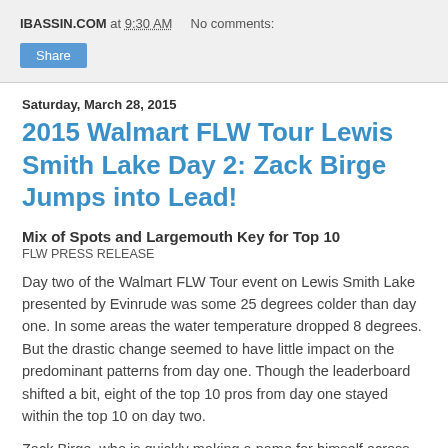IBASSIN.COM at 9:30 AM   No comments:
Share
Saturday, March 28, 2015
2015 Walmart FLW Tour Lewis Smith Lake Day 2: Zack Birge Jumps into Lead!
Mix of Spots and Largemouth Key for Top 10
FLW PRESS RELEASE
Day two of the Walmart FLW Tour event on Lewis Smith Lake presented by Evinrude was some 25 degrees colder than day one. In some areas the water temperature dropped 8 degrees. But the drastic change seemed to have little impact on the predominant patterns from day one. Though the leaderboard shifted a bit, eight of the top 10 pros from day one stayed within the top 10 on day two.
Zack Birge, who is quickly making a name for himself across all FLW levels, moved into the lead on day two with a 17-pound, 14-ounce